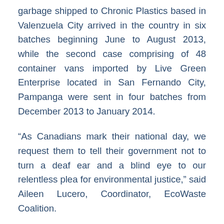garbage shipped to Chronic Plastics based in Valenzuela City arrived in the country in six batches beginning June to August 2013, while the second case comprising of 48 container vans imported by Live Green Enterprise located in San Fernando City, Pampanga were sent in four batches from December 2013 to January 2014.
“As Canadians mark their national day, we request them to tell their government not to turn a deaf ear and a blind eye to our relentless plea for environmental justice,” said Aileen Lucero, Coordinator, EcoWaste Coalition.
Lucero added: “Please ask your government to take back the unlawful garbage shipments to bring this long-running controversy to a close,” as she begged